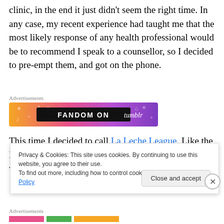clinic, in the end it just didn't seem the right time. In any case, my recent experience had taught me that the most likely response of any health professional would be to recommend I speak to a counsellor, so I decided to pre-empt them, and got on the phone.
Advertisements
[Figure (illustration): Fandom on Tumblr advertisement banner with orange to purple gradient background and white bold text reading 'FANDOM ON tumblr']
This time I decided to call La Leche League. Like the NCT counsellor I had spoken to previously, the lady who
Privacy & Cookies: This site uses cookies. By continuing to use this website, you agree to their use.
To find out more, including how to control cookies, see here: Cookie Policy
Advertisements